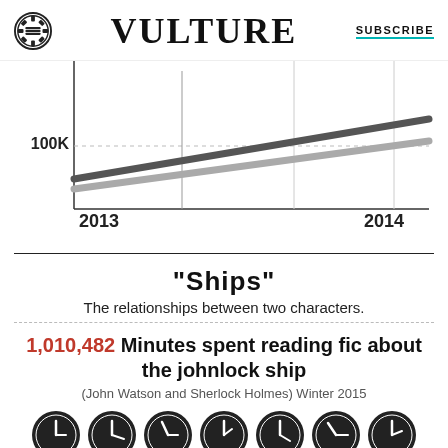VULTURE  SUBSCRIBE
[Figure (line-chart): Partial line chart showing two lines trending upward from 2013 to 2014, with a 100K label on the y-axis and a vertical marker line]
"SHIPS"
The relationships between two characters.
1,010,482 Minutes spent reading fic about the johnlock ship
(John Watson and Sherlock Holmes) Winter 2015
[Figure (other): Row of partially visible clock/gauge icons at the bottom of the page]